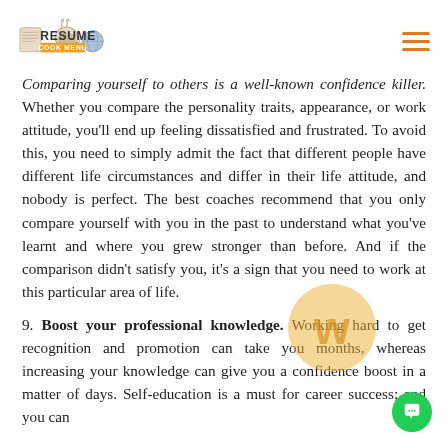Resume Cook Logo and hamburger menu
Comparing yourself to others is a well-known confidence killer. Whether you compare the personality traits, appearance, or work attitude, you'll end up feeling dissatisfied and frustrated. To avoid this, you need to simply admit the fact that different people have different life circumstances and differ in their life attitude, and nobody is perfect. The best coaches recommend that you only compare yourself with you in the past to understand what you've learnt and where you grew stronger than before. And if the comparison didn't satisfy you, it's a sign that you need to work at this particular area of life.
9. Boost your professional knowledge. Working hard to get recognition and promotion can take you months, whereas increasing your knowledge can give you a confidence boost in a matter of days. Self-education is a must for career success; and you can